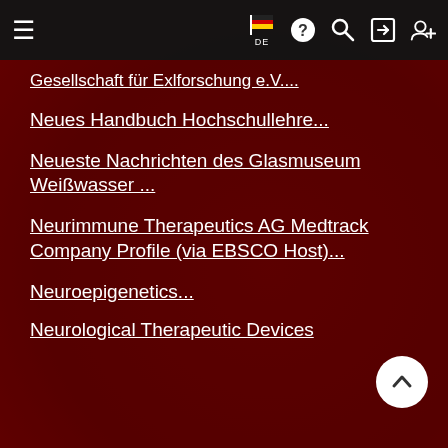Navigation bar with hamburger menu, flag DE, help, search, login, add user icons
Gesellschaft für Exlforschung e.V....
Neues Handbuch Hochschullehre...
Neueste Nachrichten des Glasmuseum Weißwasser ...
Neurimmune Therapeutics AG Medtrack Company Profile (via EBSCO Host)...
Neuroepigenetics...
Neurological Therapeutic Devices